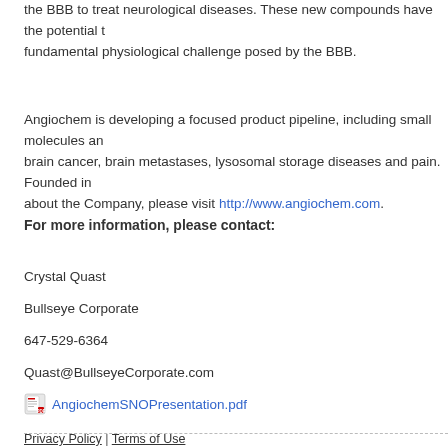Angiochem is a clinical stage biotechnology company discovering and developing compounds that can cross the BBB to treat neurological diseases. These new compounds have the potential to overcome the fundamental physiological challenge posed by the BBB.
Angiochem is developing a focused product pipeline, including small molecules and biologics, targeting brain cancer, brain metastases, lysosomal storage diseases and pain. Founded in ... For more information about the Company, please visit http://www.angiochem.com.
For more information, please contact:
Crystal Quast
Bullseye Corporate
647-529-6364
Quast@BullseyeCorporate.com
[Figure (other): PDF icon with link AngiochemSNOPresentation.pdf]
Privacy Policy | Terms of Use